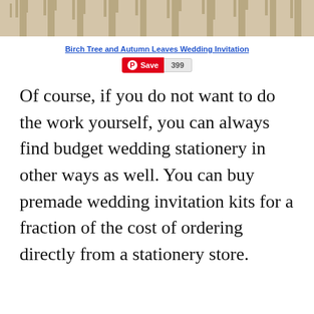[Figure (illustration): Birch tree silhouettes in tan/beige tones forming a decorative banner strip at the top of the page]
Birch Tree and Autumn Leaves Wedding Invitation
[Figure (screenshot): Pinterest Save button (red) with count badge showing 399]
Of course, if you do not want to do the work yourself, you can always find budget wedding stationery in other ways as well. You can buy premade wedding invitation kits for a fraction of the cost of ordering directly from a stationery store.